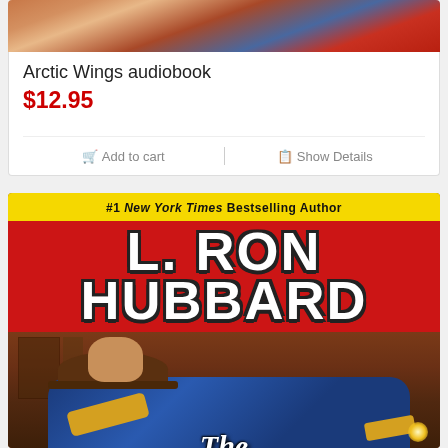[Figure (photo): Top portion of Arctic Wings audiobook product image, partially cropped at top]
Arctic Wings audiobook
$12.95
Add to cart
Show Details
[Figure (illustration): Book cover for L. Ron Hubbard 'The Baron' - shows cowboy figure with gun in action scene, red cover with yellow header bar reading '#1 New York Times Bestselling Author', large white bold text 'L. RON HUBBARD', and cursive title 'The Baron' at bottom]